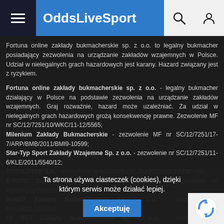OddsLiveSport
Fortuna online zakłady bukmacherskie sp. z o.o. to legalny bukmacher posiadający zezwolenia na urządzanie zakładów wzajemnych w Polsce. Udział w nielegalnych grach hazardowych jest karany. Hazard związany jest z ryzykiem.
Fortuna online zakłady bukmacherskie sp. z o.o. - legalny bukmacher działający w Polsce na podstawie zezwolenia na urządzanie zakładów wzajemnych. Graj rozważnie, hazard może uzależniać. Za udział w nielegalnych grach hazardowych grożą konsekwencję prawne. Zezwolenie MF nr SC/12/7251/10/WKC/11-12/5565; Milenium Zakłady Bukmacherskie - zezwolenie MF nr SC/12/7251/17-7/ARP/BMB/2011/BMI9-10599; Star-Typ Sport Zakłady Wzajemne Sp. z o.o. - zezwolenie nr SC/12/7251/11-6/KLE/2011/5540/12; TOTOLOTEK S.A. - zezwolenie nr AG/9/7251/8/LBU/2012/2013/RD61485; E-TOTO Zakłady Bukmacherskie Sp. z o.o. – zezwolenie nr AG9(RG3)/7251/15/KLE/2013/17; forBET Zakłady Bukmacherskie Sp. z o.o. - zezwolenie nr PS4.6831.10.2016; LV BET Zakłady Bukmacherskie Sp. z o.o. - zezwolenie nr PS4.6831.9.2016.EQK
Ta strona używa ciasteczek (cookies), dzięki którym serwis może działać lepiej.